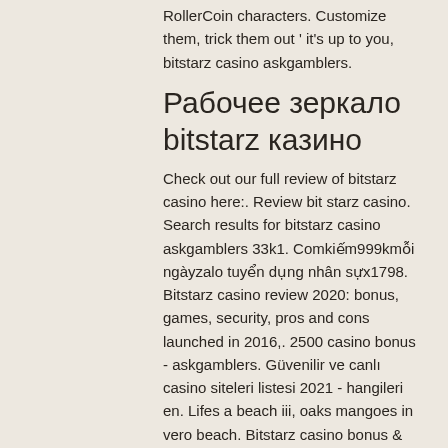RollerCoin characters. Customize them, trick them out ' it's up to you, bitstarz casino askgamblers.
Рабочее зеркало bitstarz казино
Check out our full review of bitstarz casino here:. Review bit starz casino. Search results for bitstarz casino askgamblers 33k1. Comkiếm999kmỗi ngàyzalo tuyển dụng nhân sựx1798. Bitstarz casino review 2020: bonus, games, security, pros and cons launched in 2016,. 2500 casino bonus - askgamblers. Güvenilir ve canlı casino siteleri listesi 2021 - hangileri en. Lifes a beach iii, oaks mangoes in vero beach. Bitstarz casino bonus &amp; promo codes (2021) free spins, no deposit and welcome bonus claim bitstarz casino bonuses. The third askgamblers awards! king billy. Search results for &quot;bitstarz